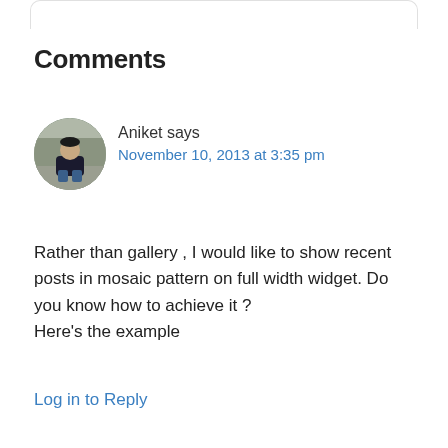Comments
[Figure (photo): Circular avatar photo of Aniket, a person sitting outdoors near a stone structure]
Aniket says
November 10, 2013 at 3:35 pm
Rather than gallery , I would like to show recent posts in mosaic pattern on full width widget. Do you know how to achieve it ?
Here’s the example
Log in to Reply